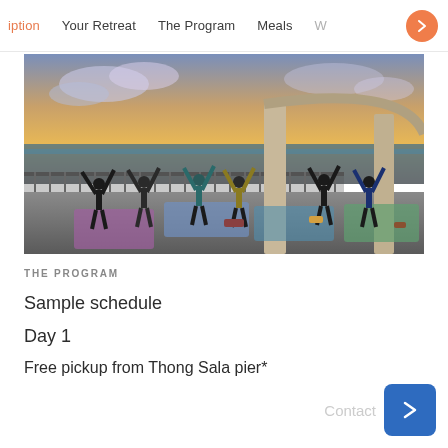iption   Your Retreat   The Program   Meals   W
[Figure (photo): Group of people doing yoga on an outdoor terrace at sunset, with ocean view and large pillars, yoga mats spread on the floor]
THE PROGRAM
Sample schedule
Day 1
Free pickup from Thong Sala pier*
Contact